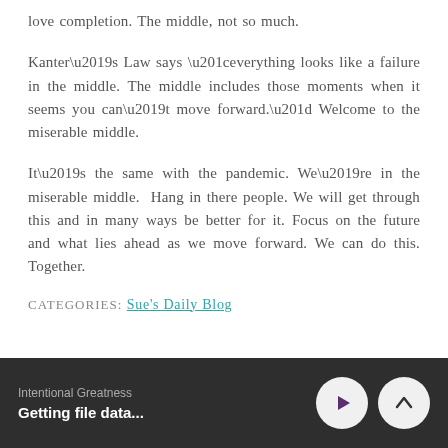love completion. The middle, not so much.
Kanter’s Law says “everything looks like a failure in the middle. The middle includes those moments when it seems you can’t move forward.” Welcome to the miserable middle.
It’s the same with the pandemic. We’re in the miserable middle.  Hang in there people. We will get through this and in many ways be better for it. Focus on the future and what lies ahead as we move forward. We can do this. Together.
CATEGORIES: Sue's Daily Blog
Intentional Greatness
Getting file data...